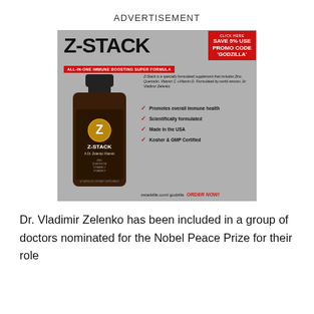ADVERTISEMENT
[Figure (illustration): Z-STACK supplement advertisement showing a dark amber bottle with the Z-STACK label (A Dr. Zelenko Vitamin, containing Zinc, Quercetin, Vitamin C, Vitamin D). The ad includes a red promo box saying 'CLICK HERE SAVE 5% USE PROMO CODE GODZILLA', a red banner reading 'ALL-IN-ONE IMMUNE BOOSTING SUPER FORMULA', descriptive text about the supplement, four red checkmarks with benefits (Promotes overall immune health, Scientifically formulated, Made in the USA, Kosher & GMP Certified), and a footer with 'zstacklife.com/godzilla ORDER NOW!'.]
Dr. Vladimir Zelenko has been included in a group of doctors nominated for the Nobel Peace Prize for their role